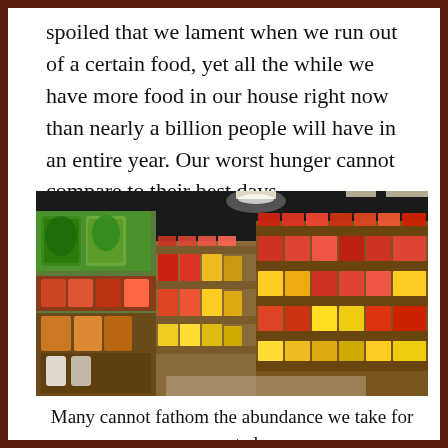spoiled that we lament when we run out of a certain food, yet all the while we have more food in our house right now than nearly a billion people will have in an entire year. Our worst hunger cannot compare to their best days.
[Figure (photo): Interior of a grocery store showing well-stocked shelves filled with colorful packaged food products, photographed from a low angle down the aisle. Left side shows refrigerated produce section with green and colorful items. Right and center show multiple shelves packed with packaged goods in reds, yellows, and other colors. The store has dark ceiling with overhead fluorescent lighting.]
Many cannot fathom the abundance we take for granted.